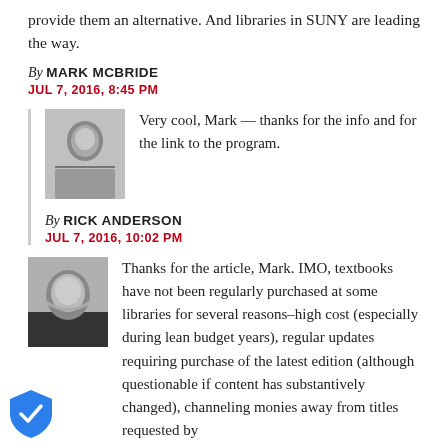provide them an alternative. And libraries in SUNY are leading the way.
By MARK MCBRIDE
JUL 7, 2016, 8:45 PM
[Figure (photo): Black and white headshot of a man]
Very cool, Mark — thanks for the info and for the link to the program.
By RICK ANDERSON
JUL 7, 2016, 10:02 PM
[Figure (photo): Black and white headshot of a woman]
Thanks for the article, Mark. IMO, textbooks have not been regularly purchased at some libraries for several reasons–high cost (especially during lean budget years), regular updates requiring purchase of the latest edition (although questionable if content has substantively changed), channeling monies away from titles requested by